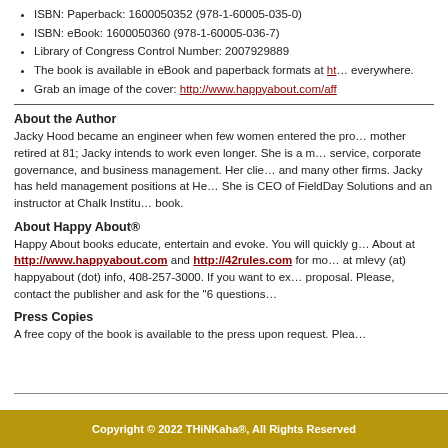ISBN: Paperback: 1600050352 (978-1-60005-035-0)
ISBN: eBook: 1600050360 (978-1-60005-036-7)
Library of Congress Control Number: 2007929889
The book is available in eBook and paperback formats at ht… everywhere.
Grab an image of the cover: http://www.happyabout.com/aff…
About the Author
Jacky Hood became an engineer when few women entered the pro… mother retired at 81; Jacky intends to work even longer. She is a m… service, corporate governance, and business management. Her cli… and many other firms. Jacky has held management positions at He… She is CEO of FieldDay Solutions and an instructor at Chalk Institu… book.
About Happy About®
Happy About books educate, entertain and evoke. You will quickly g… About at http://www.happyabout.com and http://42rules.com for mo… at mlevy (at) happyabout (dot) info, 408-257-3000. If you want to ex… proposal. Please, contact the publisher and ask for the "6 questions…
Press Copies
A free copy of the book is available to the press upon request. Plea…
Copyright © 2022 THiNKaha®, All Rights Reserved